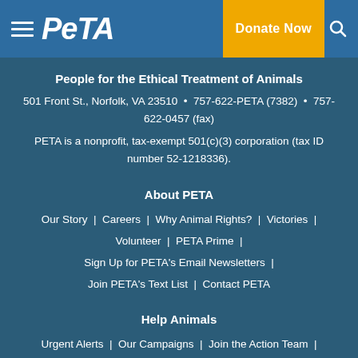PETA — Donate Now
People for the Ethical Treatment of Animals
501 Front St., Norfolk, VA 23510 • 757-622-PETA (7382) • 757-622-0457 (fax)
PETA is a nonprofit, tax-exempt 501(c)(3) corporation (tax ID number 52-1218336).
About PETA
Our Story | Careers | Why Animal Rights? | Victories | Volunteer | PETA Prime | Sign Up for PETA's Email Newsletters | Join PETA's Text List | Contact PETA
Help Animals
Urgent Alerts | Our Campaigns | Join the Action Team | For Students | For Teachers